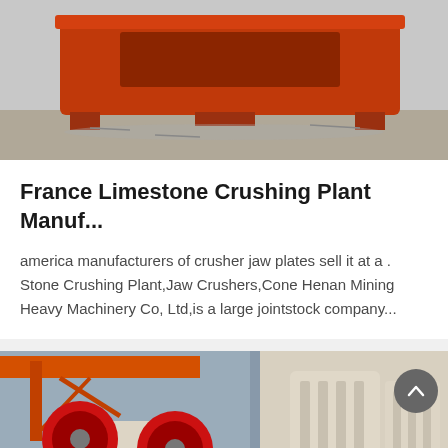[Figure (photo): Orange/red industrial crushing machine or jaw plate equipment sitting on a factory ground, viewed from above/side angle. A dark navy blue bar runs beneath the image.]
France Limestone Crushing Plant Manuf...
america manufacturers of crusher jaw plates sell it at a . Stone Crushing Plant,Jaw Crushers,Cone Henan Mining Heavy Machinery Co, Ltd,is a large jointstock company...
[Figure (photo): Industrial factory floor with large red and white jaw crusher machines and conveyor components. Orange overhead crane visible in background. A dark gray circular scroll-up button overlaid in the top-right corner.]